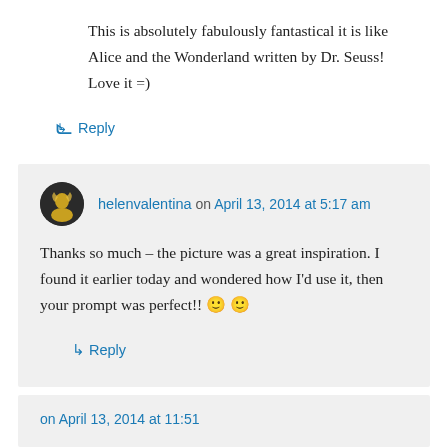This is absolutely fabulously fantastical it is like Alice and the Wonderland written by Dr. Seuss! Love it =)
↳ Reply
helenvalentina on April 13, 2014 at 5:17 am
Thanks so much – the picture was a great inspiration. I found it earlier today and wondered how I'd use it, then your prompt was perfect!! 🙂 🙂
↳ Reply
on April 13, 2014 at 11:51